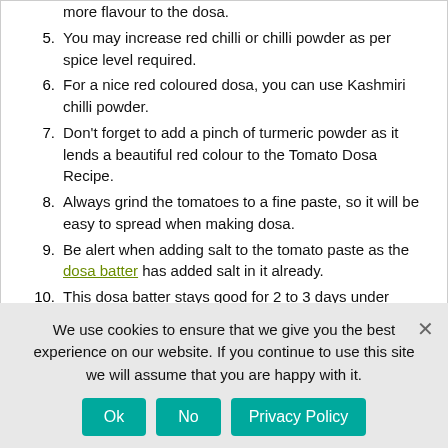more flavour to the dosa.
5. You may increase red chilli or chilli powder as per spice level required.
6. For a nice red coloured dosa, you can use Kashmiri chilli powder.
7. Don't forget to add a pinch of turmeric powder as it lends a beautiful red colour to the Tomato Dosa Recipe.
8. Always grind the tomatoes to a fine paste, so it will be easy to spread when making dosa.
9. Be alert when adding salt to the tomato paste as the dosa batter has added salt in it already.
10. This dosa batter stays good for 2 to 3 days under refrigeration.
11. Also, you can make this dosa with unfermented dosa batter too, as the tomato paste lends the sourness.
We use cookies to ensure that we give you the best experience on our website. If you continue to use this site we will assume that you are happy with it.